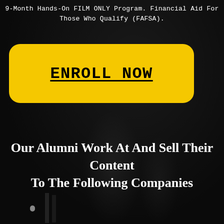9-Month Hands-On FILM ONLY Program. Financial Aid For Those Who Qualify (FAFSA).
ENROLL NOW
Our Alumni Work At And Sell Their Content To The Following Companies